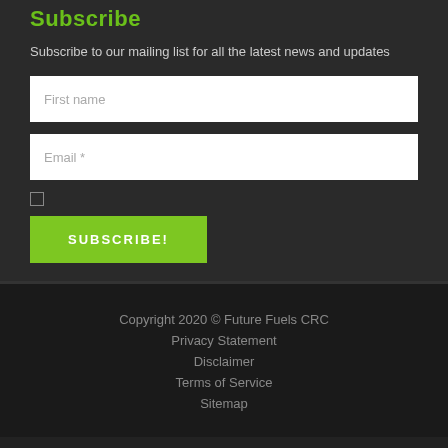Subscribe
Subscribe to our mailing list for all the latest news and updates
First name
Email *
SUBSCRIBE!
Copyright 2020 © Future Fuels CRC
Privacy Statement
Disclaimer
Terms of Service
Sitemap